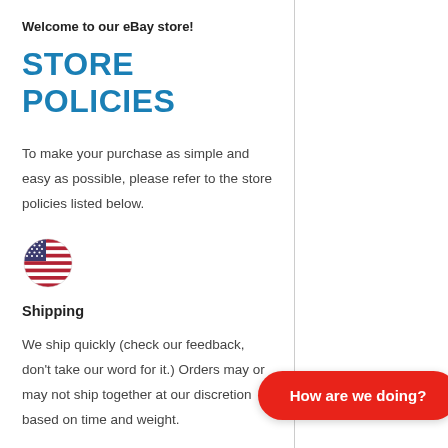Welcome to our eBay store!
STORE POLICIES
To make your purchase as simple and easy as possible, please refer to the store policies listed below.
[Figure (illustration): Circular US flag emoji]
Shipping
We ship quickly (check our feedback, don't take our word for it.) Orders may or may not ship together at our discretion based on time and weight.